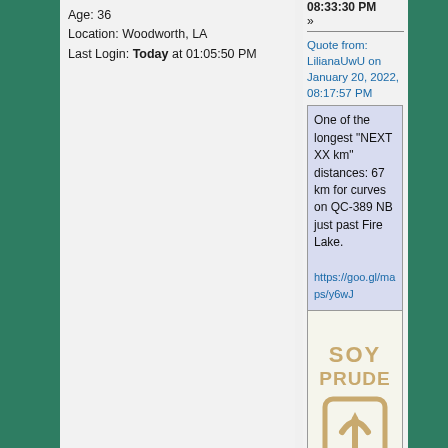Age: 36
Location: Woodworth, LA
Last Login: Today at 01:05:50 PM
08:33:30 PM
»
Quote from: LilianaUwU on January 20, 2022, 08:17:57 PM
One of the longest "NEXT XX km" distances: 67 km for curves on QC-389 NB just past Fire Lake.

https://goo.gl/maps/y6wJ
[Figure (photo): Road sign image showing 'SOY PRUDE' text with a curved arrow sign, partially visible on a smartphone screen]